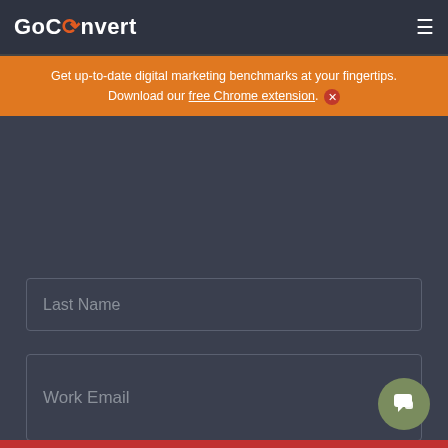GoConvert
Get up-to-date digital marketing benchmarks at your fingertips. Download our free Chrome extension. ✕
Last Name
Work Email
SUBMIT